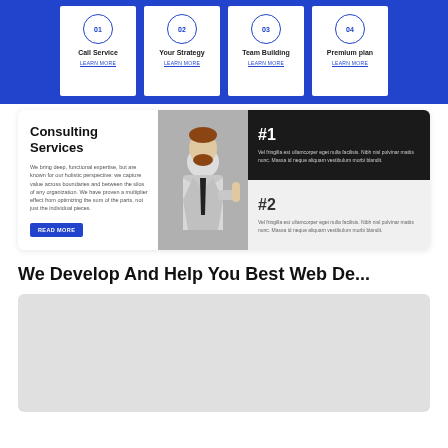[Figure (screenshot): Top blue services section with 4 white cards: 01 Call Service, 02 Your Strategy, 03 Team Building, 04 Premium plan, each with LEARN MORE link]
[Figure (screenshot): Consulting Services section with text, photo of businessman, and two numbered cards #1 and #2 with placeholder text]
We Develop And Help You Best Web De...
[Figure (screenshot): Gray placeholder box at bottom of page]